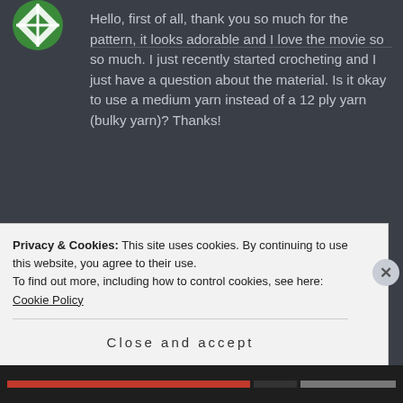[Figure (logo): Green and white circular avatar/logo at top left]
Hello, first of all, thank you so much for the pattern, it looks adorable and I love the movie so so much. I just recently started crocheting and I just have a question about the material. Is it okay to use a medium yarn instead of a 12 ply yarn (bulky yarn)? Thanks!
★ Like
Privacy & Cookies: This site uses cookies. By continuing to use this website, you agree to their use.
To find out more, including how to control cookies, see here: Cookie Policy
Close and accept